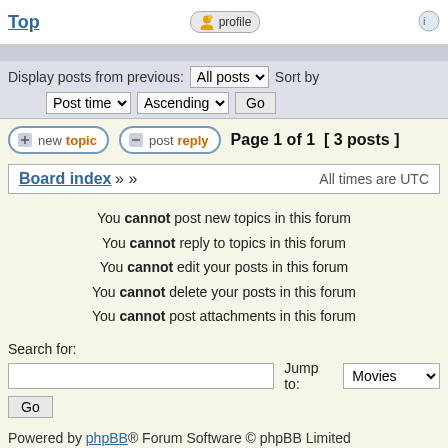Top | profile | [icon]
Display posts from previous: All posts ▾  Sort by Post time ▾  Ascending ▾  Go
[Figure (screenshot): new topic and post reply buttons, Page 1 of 1 [3 posts]]
Board index »  »   All times are UTC
You cannot post new topics in this forum
You cannot reply to topics in this forum
You cannot edit your posts in this forum
You cannot delete your posts in this forum
You cannot post attachments in this forum
Search for:
Jump to: Movies
Go
Powered by phpBB® Forum Software © phpBB Limited